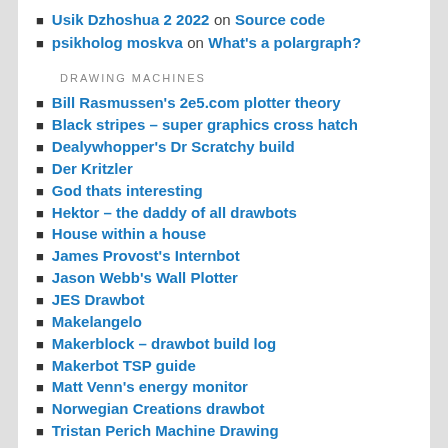Usik Dzhoshua 2 2022 on Source code
psikholog moskva on What's a polargraph?
DRAWING MACHINES
Bill Rasmussen's 2e5.com plotter theory
Black stripes – super graphics cross hatch
Dealywhopper's Dr Scratchy build
Der Kritzler
God thats interesting
Hektor – the daddy of all drawbots
House within a house
James Provost's Internbot
Jason Webb's Wall Plotter
JES Drawbot
Makelangelo
Makerblock – drawbot build log
Makerbot TSP guide
Matt Venn's energy monitor
Norwegian Creations drawbot
Tristan Perich Machine Drawing